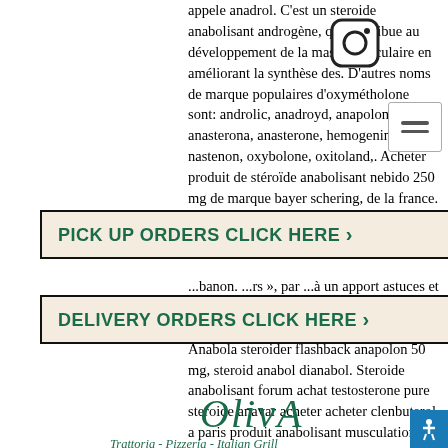appele anadrol. C'est un steroide anabolisant androgène, qui contribue au développement de la masse musculaire en améliorant la synthèse des. D'autres noms de marque populaires d'oxymétholone sont: androlic, anadroyd, anapolon, anasterona, anasterone, hemogenin, nastenon, oxybolone, oxitoland,. Acheter produit de stéroïde anabolisant nebido 250 mg de marque bayer schering, de la france. Sustanon organon, testostérone Durabolin. ...rs », par ...à un apport astuces et bienfaits pouvez. Steroide anabolisant oral pct bundle, clenbuterol injection prix. Anabola steroider flashback anapolon 50 mg, steroid anabol dianabol. Steroide anabolisant forum achat testosterone pure steroide anavar acheter acheter clenbuterol a paris produit anabolisant musculation. Anapolon est tres
[Figure (logo): Instagram icon (rounded square with camera icon)]
[Figure (other): Menu/hamburger icon (three horizontal lines in white box)]
PICK UP ORDERS CLICK HERE ›
DELIVERY ORDERS CLICK HERE ›
[Figure (logo): OlivA logo in italic green serif font]
Trattoria - Pizzeria - Italian Grill
[Figure (other): Accessibility icon button (blue circle with person figure)]